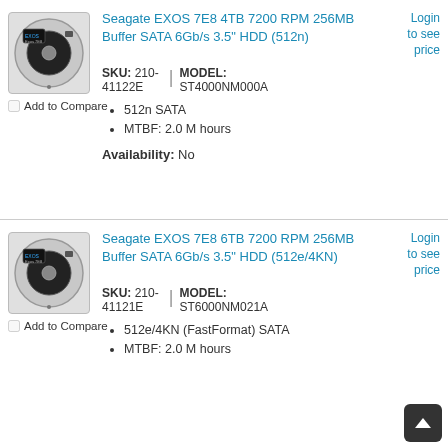[Figure (photo): Seagate EXOS 7E8 4TB HDD product image - round hard drive disk with black label]
Add to Compare
Seagate EXOS 7E8 4TB 7200 RPM 256MB Buffer SATA 6Gb/s 3.5" HDD (512n)
Login to see price
SKU: 210-41122E  |  MODEL: ST4000NM000A
512n SATA
MTBF: 2.0 M hours
Availability: No
[Figure (photo): Seagate EXOS 7E8 6TB HDD product image - round hard drive disk with black label]
Add to Compare
Seagate EXOS 7E8 6TB 7200 RPM 256MB Buffer SATA 6Gb/s 3.5" HDD (512e/4KN)
Login to see price
SKU: 210-41121E  |  MODEL: ST6000NM021A
512e/4KN (FastFormat) SATA
MTBF: 2.0 M hours